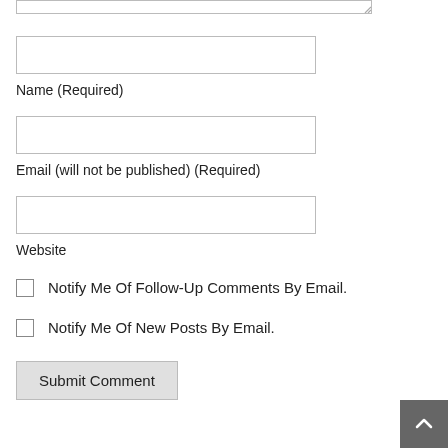[Figure (screenshot): Top portion of a textarea input field (partial, cropped at top of page) with resize handle]
Name (Required)
[Figure (screenshot): Text input field for Name]
Email (will not be published) (Required)
[Figure (screenshot): Text input field for Email]
Website
[Figure (screenshot): Text input field for Website]
Notify Me Of Follow-Up Comments By Email.
Notify Me Of New Posts By Email.
[Figure (screenshot): Submit Comment button]
[Figure (screenshot): Back to top arrow button in bottom right corner]